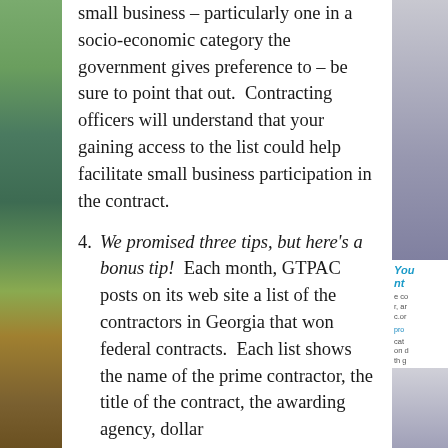small business – particularly one in a socio-economic category the government gives preference to – be sure to point that out. Contracting officers will understand that your gaining access to the list could help facilitate small business participation in the contract.
4. We promised three tips, but here's a bonus tip! Each month, GTPAC posts on its web site a list of the contractors in Georgia that won federal contracts. Each list shows the name of the prime contractor, the title of the contract, the awarding agency, dollar
[Figure (photo): Left side photo strip showing greenery/plants]
[Figure (screenshot): Right sidebar showing partial text and links in blue]